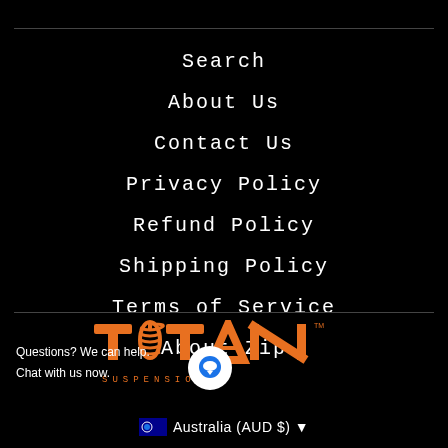Search
About Us
Contact Us
Privacy Policy
Refund Policy
Shipping Policy
Terms of Service
About Zip
[Figure (logo): Titan Suspension logo — orange bold lettering with a coil spring replacing the letter O, the word SUSPENSION below in spaced letters]
Questions? We can help.
Chat with us now.
Australia (AUD $) ▾